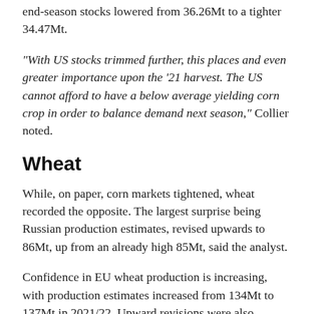end-season stocks lowered from 36.26Mt to a tighter 34.47Mt.
“With US stocks trimmed further, this places and even greater importance upon the ‘21 harvest. The US cannot afford to have a below average yielding corn crop in order to balance demand next season,” Collier noted.
Wheat
While, on paper, corn markets tightened, wheat recorded the opposite. The largest surprise being Russian production estimates, revised upwards to 86Mt, up from an already high 85Mt, said the analyst.
Confidence in EU wheat production is increasing, with production estimates increased from 134Mt to 137Mt in 2021/22. Upward revisions were also recorded for